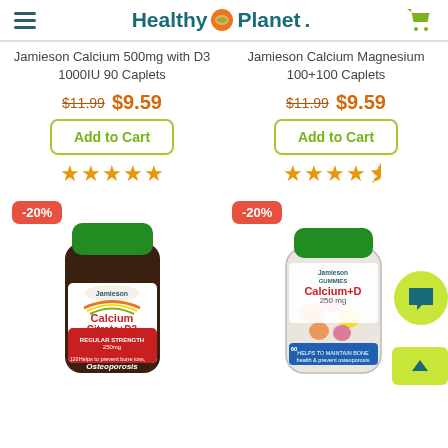Healthy Planet
Jamieson Calcium 500mg with D3 1000IU 90 Caplets
Jamieson Calcium Magnesium 100+100 Caplets
$11.99 $9.59
$11.99 $9.59
Add to Cart
Add to Cart
★★★★★ (5 stars)
★★★★½ (4.5 stars)
[Figure (photo): Jamieson Calcium Citrate+D3 Regular Strength 250mg 120 caplets bottle with -20% badge]
[Figure (photo): Jamieson Gummies Calcium+D 250mg 60 count bottle with -20% badge]